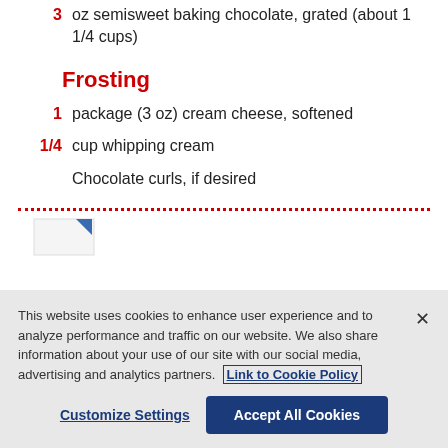3 oz semisweet baking chocolate, grated (about 1 1/4 cups)
Frosting
1 package (3 oz) cream cheese, softened
1/4 cup whipping cream
Chocolate curls, if desired
[Figure (other): Partial image of a document or book page visible below dotted divider]
This website uses cookies to enhance user experience and to analyze performance and traffic on our website. We also share information about your use of our site with our social media, advertising and analytics partners. Link to Cookie Policy
Customize Settings   Accept All Cookies